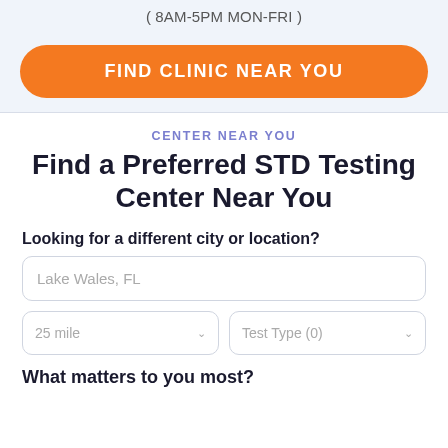( 8AM-5PM MON-FRI )
[Figure (screenshot): Orange pill-shaped button labeled FIND CLINIC NEAR YOU]
CENTER NEAR YOU
Find a Preferred STD Testing Center Near You
Looking for a different city or location?
Lake Wales, FL
25 mile
Test Type (0)
What matters to you most?